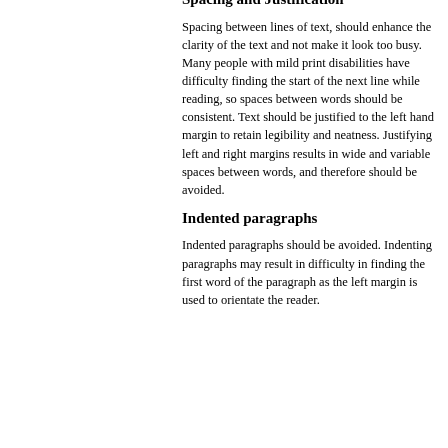(refer to Large Print Guidelines).
Spacing and Justification
Spacing between lines of text, should enhance the clarity of the text and not make it look too busy. Many people with mild print disabilities have difficulty finding the start of the next line while reading, so spaces between words should be consistent. Text should be justified to the left hand margin to retain legibility and neatness. Justifying left and right margins results in wide and variable spaces between words, and therefore should be avoided.
Indented paragraphs
Indented paragraphs should be avoided. Indenting paragraphs may result in difficulty in finding the first word of the paragraph as the left margin is used to orientate the reader.